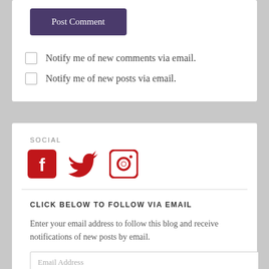Post Comment
Notify me of new comments via email.
Notify me of new posts via email.
SOCIAL
[Figure (other): Social media icons: Facebook, Twitter, Instagram in red]
CLICK BELOW TO FOLLOW VIA EMAIL
Enter your email address to follow this blog and receive notifications of new posts by email.
Email Address